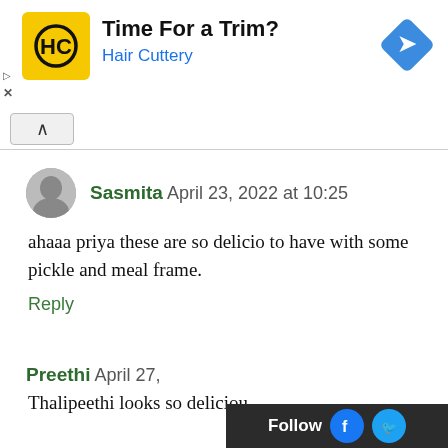[Figure (screenshot): Hair Cuttery advertisement banner with yellow HC logo, 'Time For a Trim?' headline, 'Hair Cuttery' subtitle in blue, and a blue diamond arrow icon on the right]
Sasmita April 23, 2022 at 10:25
ahaaa priya these are so delicio to have with some pickle and meal frame.
Reply
Preethi April 27,
Thalineeth looks so deliciou...
[Figure (screenshot): Follow bar with Facebook and Twitter icons on dark background]